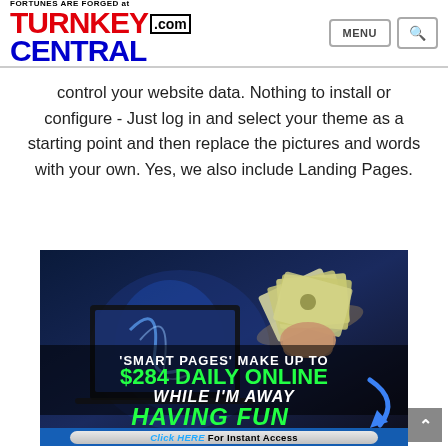FORTUNES ARE FORGED at TURNKEYCENTRAL.com | MENU | Search
control your website data. Nothing to install or configure - Just log in and select your theme as a starting point and then replace the pictures and words with your own. Yes, we also include Landing Pages.
[Figure (infographic): Promotional banner image with dark blue background showing a laptop with glowing blue effects and a hand holding money. Text overlay reads: 'SMART PAGES' MAKE UP TO $284 DAILY ONLINE WHILE I'M AWAY HAVING FUN. Click HERE For Instant Access button at bottom.]